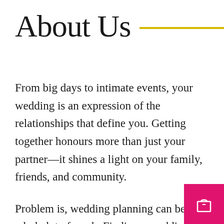About Us
From big days to intimate events, your wedding is an expression of the relationships that define you. Getting together honours more than just your partner—it shines a light on your family, friends, and community.
Problem is, wedding planning can be a whole lot of work. Finding a wedding venue, the right florist , or other specialty wedding services is hard to do alone.
[Figure (illustration): Pink/magenta shopping bag icon button in the bottom right corner]